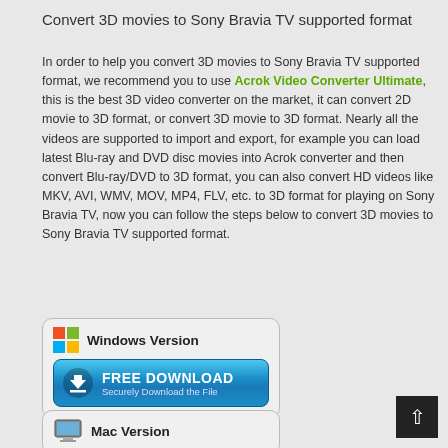Convert 3D movies to Sony Bravia TV supported format
In order to help you convert 3D movies to Sony Bravia TV supported format, we recommend you to use Acrok Video Converter Ultimate, this is the best 3D video converter on the market, it can convert 2D movie to 3D format, or convert 3D movie to 3D format. Nearly all the videos are supported to import and export, for example you can load latest Blu-ray and DVD disc movies into Acrok converter and then convert Blu-ray/DVD to 3D format, you can also convert HD videos like MKV, AVI, WMV, MOV, MP4, FLV, etc. to 3D format for playing on Sony Bravia TV, now you can follow the steps below to convert 3D movies to Sony Bravia TV supported format.
[Figure (infographic): Windows Version download button with Windows logo icon and FREE DOWNLOAD blue button with Securely Download the File subtitle]
[Figure (infographic): Mac Version download section with Mac/monitor icon]